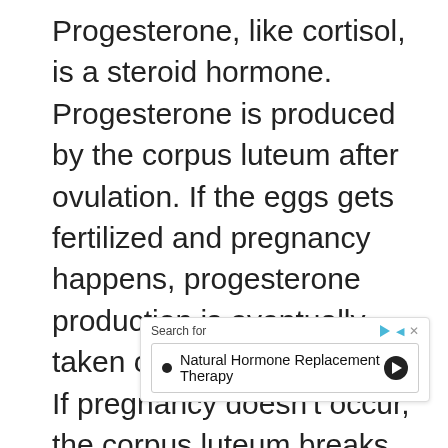Progesterone, like cortisol, is a steroid hormone. Progesterone is produced by the corpus luteum after ovulation. If the eggs gets fertilized and pregnancy happens, progesterone production is eventually taken over by the placenta. If pregnancy doesn't occur, the corpus luteum breaks down and menstruation takes place, beginning a new cycle.

Just as estrogen is vital for a healthy menstrual cycle, so is progesterone. When estrogen dominance occurs, progesterone levels are low. When adequate progesterone levels are present, they can
[Figure (other): An advertisement overlay showing 'Search for' header with play and close icons, and a search result row: bullet point with 'Natural Hormone Replacement Therapy' and a right arrow button.]